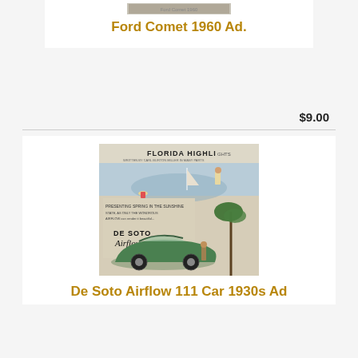[Figure (photo): Thumbnail image of Ford Comet 1960 advertisement]
Ford Comet 1960 Ad.
$9.00
[Figure (photo): Vintage De Soto Airflow 111 car advertisement from 1930s featuring Florida Highlands scene with green car and palm trees]
De Soto Airflow 111 Car 1930s Ad